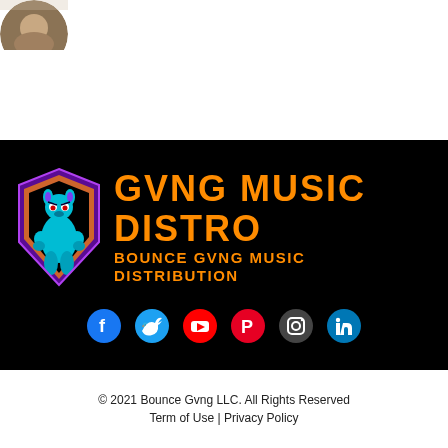[Figure (photo): Partial circular avatar/profile photo at top left corner]
[Figure (logo): Gvng Music Distro logo on black background - muscular kangaroo mascot with text 'GVNG MUSIC DISTRO' and 'BOUNCE GVNG MUSIC DISTRIBUTION' in orange, plus social media icons (Facebook, Twitter, YouTube, Pinterest, Instagram, LinkedIn)]
© 2021 Bounce Gvng LLC. All Rights Reserved
Term of Use | Privacy Policy